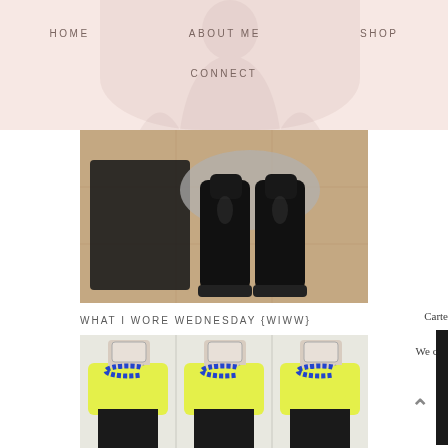HOME   ABOUT ME   SHOP   CONNECT
[Figure (photo): Flat lay photo of dark clothing/pants, black tall boots, and grey fabric on a tile floor, viewed from above.]
WHAT I WORE WEDNESDAY {WIWW}
[Figure (photo): Triptych mirror selfie of a woman wearing a yellow-green sweater, blue statement necklace, and black pants, taking photo with phone in three panels side by side.]
Carte
We can